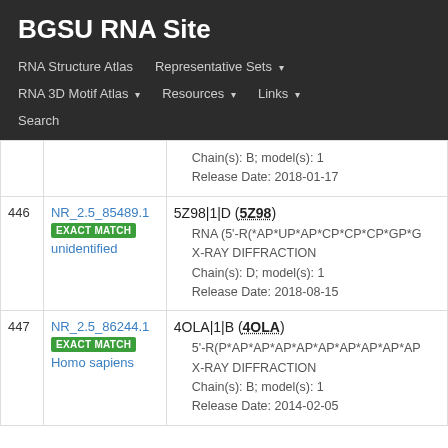BGSU RNA Site
RNA Structure Atlas
Representative Sets
RNA 3D Motif Atlas
Resources
Links
Search
| # | ID | Details |
| --- | --- | --- |
|  |  | Chain(s): B; model(s): 1 | Release Date: 2018-01-17 |
| 446 | NR_2.5_85489.1 EXACT MATCH unidentified | 5Z98|1|D (5Z98) • RNA (5'-R(*AP*UP*AP*CP*CP*CP*GP*G • X-RAY DIFFRACTION • Chain(s): D; model(s): 1 • Release Date: 2018-08-15 |
| 447 | NR_2.5_86244.1 EXACT MATCH Homo sapiens | 4OLA|1|B (4OLA) • 5'-R(P*AP*AP*AP*AP*AP*AP*AP*AP*AP • X-RAY DIFFRACTION • Chain(s): B; model(s): 1 • Release Date: 2014-02-05 |